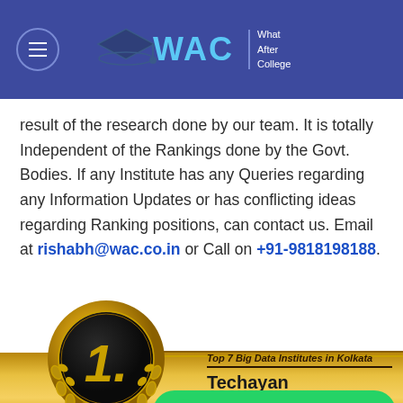WAC | What After College
result of the research done by our team. It is totally Independent of the Rankings done by the Govt. Bodies. If any Institute has any Queries regarding any Information Updates or has conflicting ideas regarding Ranking positions, can contact us. Email at rishabh@wac.co.in or Call on +91-9818198188.
[Figure (illustration): Gold medal badge showing number 1 with laurel wreath, on a gold banner reading 'Top 7 Big Data Institutes in Kolkata' with 'Techayan' below]
Top 7 Big Data Institutes in Kolkata - Techayan